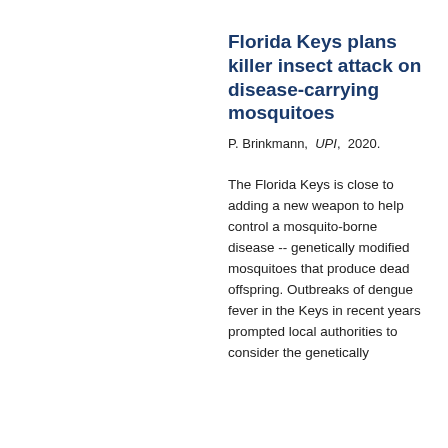Florida Keys plans killer insect attack on disease-carrying mosquitoes
P. Brinkmann, UPI, 2020.
The Florida Keys is close to adding a new weapon to help control a mosquito-borne disease -- genetically modified mosquitoes that produce dead offspring. Outbreaks of dengue fever in the Keys in recent years prompted local authorities to consider the genetically